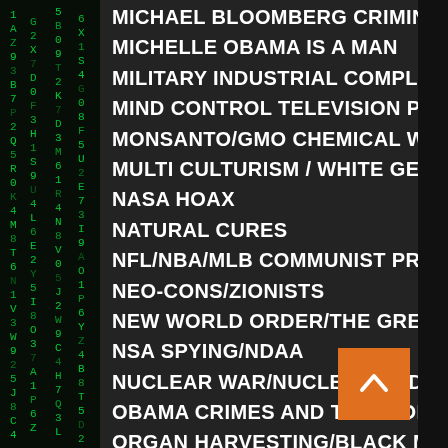MICHAEL BLOOMBERG CRIMINAL ACTIVITY
MICHELLE OBAMA IS A MAN
MILITARY INDUSTRIAL COMPLEX
MIND CONTROL TELEVISION PROGRAMING
MONSANTO/GMO CHEMICAL WARFARE
MULTI CULTURISM / WHITE GENOCIDE
NASA HOAX
NATURAL CURES
NFL/NBA/MLB COMMUNIST PROPAGANDA
NEO-CONS/ZIONISTS
NEW WORLD ORDER/THE GREAT RESET
NSA SPYING/NDAA
NUCLEAR WAR/NUCLEAR RADIATION
OBAMA CRIMES AND TREASONOUS ACTIVITY
ORGAN HARVESTING/BLACK MARKET
PAID PROTESTERS/COMMUNIST
PROPAGANDA